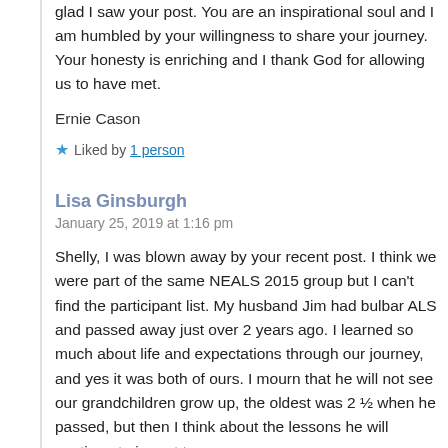glad I saw your post. You are an inspirational soul and I am humbled by your willingness to share your journey. Your honesty is enriching and I thank God for allowing us to have met.
Ernie Cason
Liked by 1 person
Lisa Ginsburgh
January 25, 2019 at 1:16 pm
Shelly, I was blown away by your recent post. I think we were part of the same NEALS 2015 group but I can't find the participant list. My husband Jim had bulbar ALS and passed away just over 2 years ago. I learned so much about life and expectations through our journey, and yes it was both of ours. I mourn that he will not see our grandchildren grow up, the oldest was 2 ½ when he passed, but then I think about the lessons he will continue to impart to